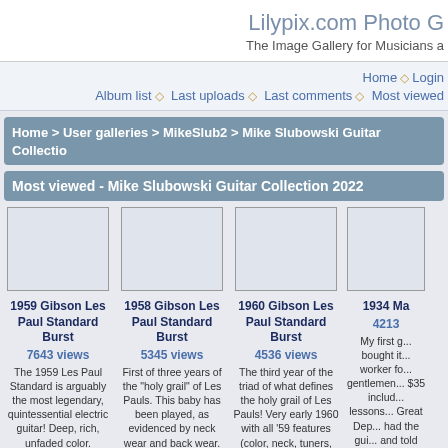Lilypix.com Photo Gallery - The Image Gallery for Musicians a...
Home ◇ Login | Album list ◇ Last uploads ◇ Last comments ◇ Most viewed
Home > User galleries > MikeSlub2 > Mike Slubowski Guitar Collection
Most viewed - Mike Slubowski Guitar Collection 2022
[Figure (photo): Thumbnail image placeholder for 1959 Gibson Les Paul Standard Burst]
1959 Gibson Les Paul Standard Burst
7643 views
The 1959 Les Paul Standard is arguably the most legendary, quintessential electric guitar! Deep, rich, unfaded color. Excellent plus condition. This guitar was replicated by Gibson Custom as Collector's Choice #6. Great guitar with magic tone! My "desert island"
[Figure (photo): Thumbnail image placeholder for 1958 Gibson Les Paul Standard Burst]
1958 Gibson Les Paul Standard Burst
5345 views
First of three years of the "holy grail" of Les Pauls. This baby has been played, as evidenced by neck wear and back wear. Perfect Teaburst color! Plays and sounds great!
[Figure (photo): Thumbnail image placeholder for 1960 Gibson Les Paul Standard Burst]
1960 Gibson Les Paul Standard Burst
4536 views
The third year of the triad of what defines the holy grail of Les Pauls! Very early 1960 with all '59 features (color, neck, tuners, etc.) Plus double whites! Near mint condition. Came back from Japan. Was in Mac Yasuda's collection at one time before fading from
[Figure (photo): Thumbnail image placeholder for 1934 Ma... (partial)]
1934 Ma...
4213...
My first g... bought it... worker fo... gentlemen... $35 includ... lessons... Great Dep... had the gui... and told h... worth a lot... wanted m... and woul... more...